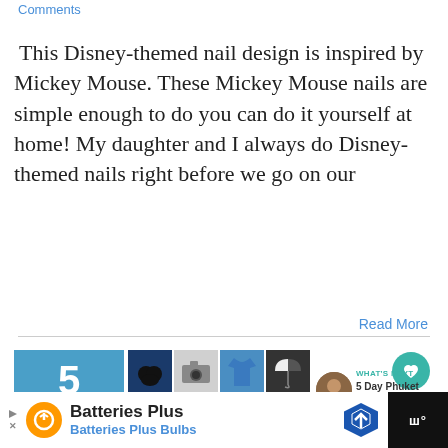Comments
This Disney-themed nail design is inspired by Mickey Mouse. These Mickey Mouse nails are simple enough to do you can do it yourself at home! My daughter and I always do Disney-themed nails right before we go on our
Read More
[Figure (screenshot): Blog post card with date box showing '5 / 01, 2016' in teal/blue, product image grid with Disney, camera, shirt, umbrella, swimsuit, gloves, bottle, band-aid products, and a 'WHAT'S NEXT' thumbnail linking to '5 Day Phuket Itinerary']
[Figure (infographic): Advertisement bar at bottom: Batteries Plus / Batteries Plus Bulbs ad with orange circular logo, blue hexagonal direction sign icon, and dark right panel]